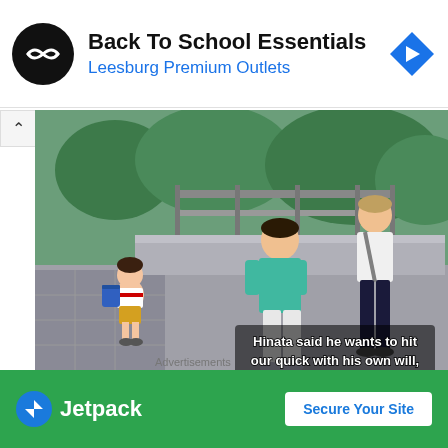[Figure (infographic): Advertisement banner: black circle logo with double arrow, text 'Back To School Essentials' in bold black, 'Leesburg Premium Outlets' in blue, blue diamond navigation icon on right]
[Figure (screenshot): Anime screenshot showing three characters on a street/outdoor path - a small child with blue backpack, a teenager in teal shirt facing away, and a tall teenager standing. Subtitle text reads: 'Hinata said he wants to hit our quick with his own will,']
Well here’s an anomaly. The team spend most of this episode fragmented though all independently
Advertisements
[Figure (infographic): Jetpack advertisement banner on green background with Jetpack logo and 'Secure Your Site' button]